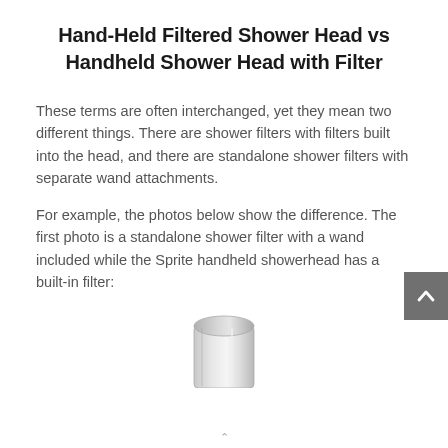Hand-Held Filtered Shower Head vs Handheld Shower Head with Filter
These terms are often interchanged, yet they mean two different things. There are shower filters with filters built into the head, and there are standalone shower filters with separate wand attachments.
For example, the photos below show the difference. The first photo is a standalone shower filter with a wand included while the Sprite handheld showerhead has a built-in filter:
[Figure (photo): Partial image of a handheld shower head or shower filter, showing the top portion of a silver/chrome cylindrical device against a white background.]